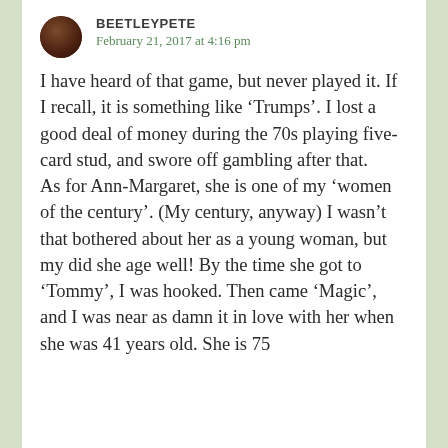BEETLEYPETE
February 21, 2017 at 4:16 pm
I have heard of that game, but never played it. If I recall, it is something like ‘Trumps’. I lost a good deal of money during the 70s playing five-card stud, and swore off gambling after that.
As for Ann-Margaret, she is one of my ‘women of the century’. (My century, anyway) I wasn’t that bothered about her as a young woman, but my did she age well! By the time she got to ‘Tommy’, I was hooked. Then came ‘Magic’, and I was near as damn it in love with her when she was 41 years old. She is 75